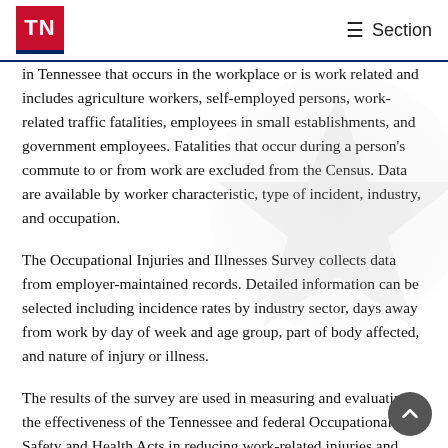TN | ☰ Section
in Tennessee that occurs in the workplace or is work related and includes agriculture workers, self-employed persons, work-related traffic fatalities, employees in small establishments, and government employees. Fatalities that occur during a person's commute to or from work are excluded from the Census. Data are available by worker characteristic, type of incident, industry, and occupation.
The Occupational Injuries and Illnesses Survey collects data from employer-maintained records. Detailed information can be selected including incidence rates by industry sector, days away from work by day of week and age group, part of body affected, and nature of injury or illness.
The results of the survey are used in measuring and evaluating the effectiveness of the Tennessee and federal Occupational Safety and Health Acts in reducing work-related injuries and illnesses. The TOSHA Consultative Services division is available to employers to evaluate or create workplace safety programs; contact Consultative Services at (... 741-2793.